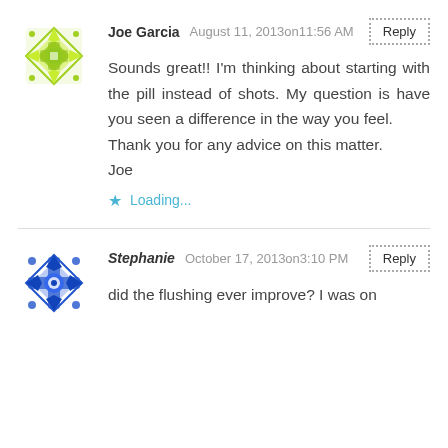[Figure (illustration): Green decorative avatar icon for user Joe Garcia]
Joe Garcia  August 11, 2013on11:56 AM
Sounds great!! I'm thinking about starting with the pill instead of shots. My question is have you seen a difference in the way you feel.
Thank you for any advice on this matter.
Joe
Loading...
[Figure (illustration): Blue decorative avatar icon for user Stephanie]
Stephanie  October 17, 2013on3:10 PM
did the flushing ever improve? I was on